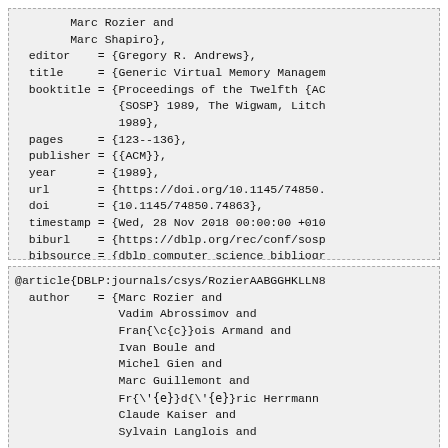Marc Rozier and
    Marc Shapiro},
editor     = {Gregory R. Andrews},
title      = {Generic Virtual Memory Managem
booktitle  = {Proceedings of the Twelfth {AC
               {SOSP} 1989, The Wigwam, Litch
               1989},
pages      = {123--136},
publisher  = {{ACM}},
year       = {1989},
url        = {https://doi.org/10.1145/74850.
doi        = {10.1145/74850.74863},
timestamp  = {Wed, 28 Nov 2018 00:00:00 +010
biburl     = {https://dblp.org/rec/conf/sosp
bibsource  = {dblp computer science bibliogr
}
@article{DBLP:journals/csys/RozierAABGGHKLLN8
  author     = {Marc Rozier and
                 Vadim Abrossimov and
                 Fran{\c{c}}ois Armand and
                 Ivan Boule and
                 Michel Gien and
                 Marc Guillemont and
                 Fr{\'e}d{\'e}ric Herrmann
                 Claude Kaiser and
                 Sylvain Langlois and